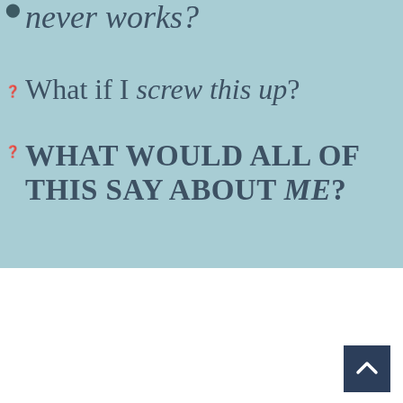…playing never works?
What if I screw this up?
WHAT WOULD ALL OF THIS SAY ABOUT ME?
[Figure (other): Dark blue scroll-to-top arrow button in bottom right corner of white section]